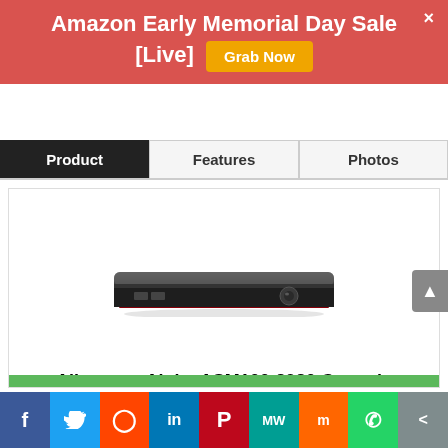Amazon Early Memorial Day Sale [Live] Grab Now
Product | Features | Photos
[Figure (photo): Alienware Alpha ASM100-2980 console gaming PC, a slim black/dark rectangular device with front ports and Alienware logo]
Alienware Alpha ASM100-2980 Console (Discontinued by Manufacturer) (Renewed)
This Certified Refurbished product is tested and certified to look and work like new. The refurbishing process includes functionality testing
Facebook | Twitter | Reddit | LinkedIn | Pinterest | MeWe | Mix | WhatsApp | Share